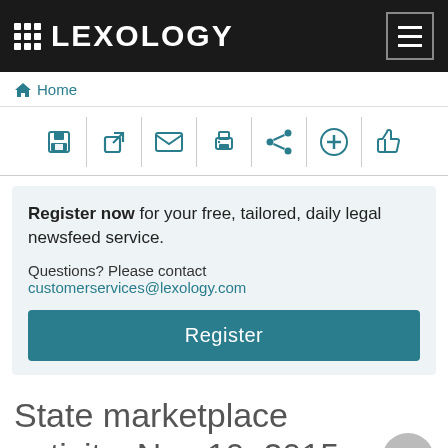LEXOLOGY
Home
[Figure (screenshot): Icon toolbar with save, external link, email, print, share, add, and thumbs-up icons]
Register now for your free, tailored, daily legal newsfeed service. Questions? Please contact customerservices@lexology.com
Register
State marketplace activity: Nov 10, 2015